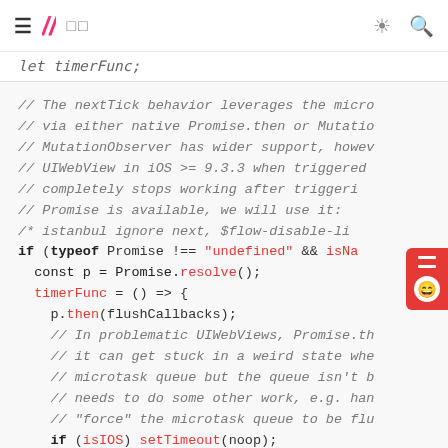≡ // □□ [nav icons]
let timerFunc;
// The nextTick behavior leverages the micro
// via either native Promise.then or Mutatio
// MutationObserver has wider support, howev
// UIWebView in iOS >= 9.3.3 when triggered
// completely stops working after triggeri
// Promise is available, we will use it:
/* istanbul ignore next, $flow-disable-li
if (typeof Promise !== "undefined" && isNa
  const p = Promise.resolve();
  timerFunc = () => {
    p.then(flushCallbacks);
    // In problematic UIWebViews, Promise.th
    // it can get stuck in a weird state whe
    // microtask queue but the queue isn't b
    // needs to do some other work, e.g. han
    // "force" the microtask queue to be flu
    if (isIOS) setTimeout(noop);